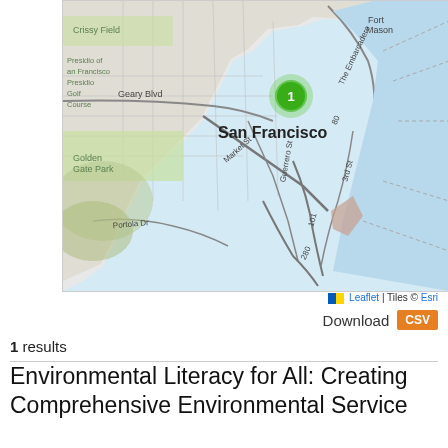[Figure (map): Interactive map of San Francisco showing a single cluster marker with '1' in green, centered near downtown SF. Streets visible include Geary Blvd, Market St, Guerrero St, Portola Dr, The Embarcadero, 3rd St. Areas labeled include Crissy Field, Fort Mason, Presidio of San Francisco, Presidio Golf Course, Golden Gate Park. Attribution: Leaflet | Tiles © Esri.]
Leaflet | Tiles © Esri
Download CSV
1 results
Environmental Literacy for All: Creating Comprehensive Environmental Service